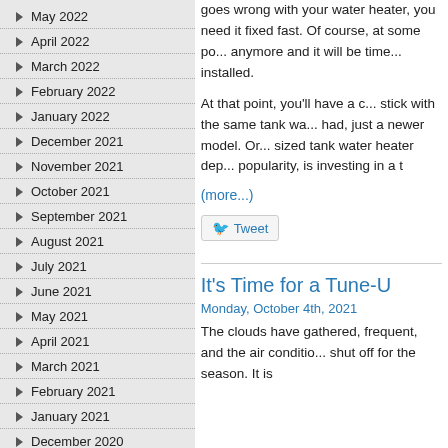May 2022
April 2022
March 2022
February 2022
January 2022
December 2021
November 2021
October 2021
September 2021
August 2021
July 2021
June 2021
May 2021
April 2021
March 2021
February 2021
January 2021
December 2020
goes wrong with your water heater, you need it fixed fast. Of course, at some point it can't be repaired anymore and it will be time to have a new one installed.
At that point, you'll have a choice. You can either stick with the same tank water heater style you've had, just a newer model. Or you can get a differently sized tank water heater depending on need. Or, growing in popularity, is investing in a t
(more...)
Tweet
It's Time for a Tune-U
Monday, October 4th, 2021
The clouds have gathered, and the rain is becoming more frequent, and the air conditioning may be getting ready to shut off for the season. It is